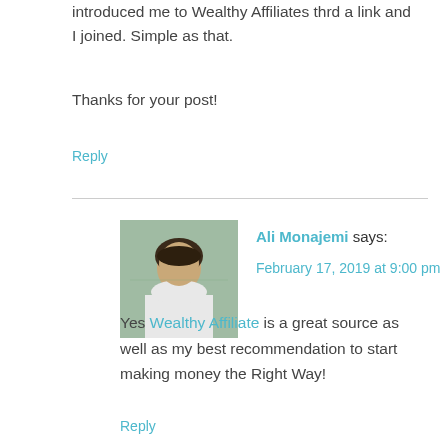introduced me to Wealthy Affiliates thrd a link and I joined. Simple as that.
Thanks for your post!
Reply
Ali Monajemi says: February 17, 2019 at 9:00 pm
[Figure (photo): Profile photo of Ali Monajemi, a man in a white shirt outdoors]
Yes Wealthy Affiliate is a great source as well as my best recommendation to start making money the Right Way!
Reply